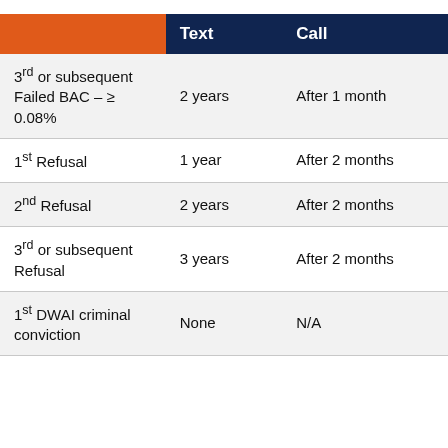|  | Text | Call |
| --- | --- | --- |
| 3rd or subsequent Failed BAC – ≥ 0.08% | 2 years | After 1 month |
| 1st Refusal | 1 year | After 2 months |
| 2nd Refusal | 2 years | After 2 months |
| 3rd or subsequent Refusal | 3 years | After 2 months |
| 1st DWAI criminal conviction | None | N/A |